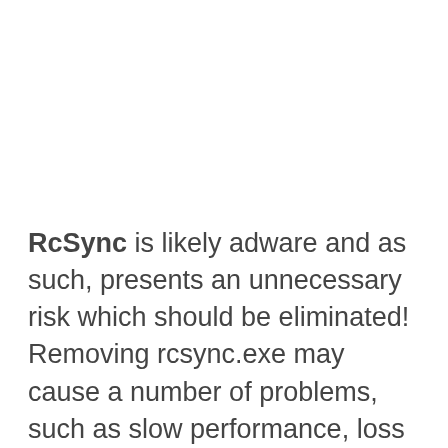RcSync is likely adware and as such, presents an unnecessary risk which should be eliminated! Removing rcsync.exe may cause a number of problems, such as slow performance, loss